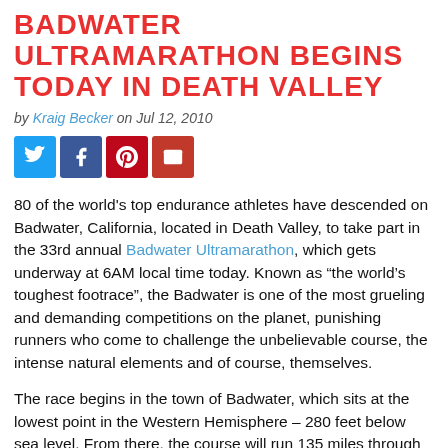BADWATER ULTRAMARATHON BEGINS TODAY IN DEATH VALLEY
by Kraig Becker on Jul 12, 2010
[Figure (other): Social media sharing icons: Twitter, Facebook, Pinterest, Email]
80 of the world's top endurance athletes have descended on Badwater, California, located in Death Valley, to take part in the 33rd annual Badwater Ultramarathon, which gets underway at 6AM local time today. Known as “the world’s toughest footrace”, the Badwater is one of the most grueling and demanding competitions on the planet, punishing runners who come to challenge the unbelievable course, the intense natural elements and of course, themselves.
The race begins in the town of Badwater, which sits at the lowest point in the Western Hemisphere – 280 feet below sea level. From there, the course will run 135 miles through the heart of Death Valley, crossing three mountain ranges, before